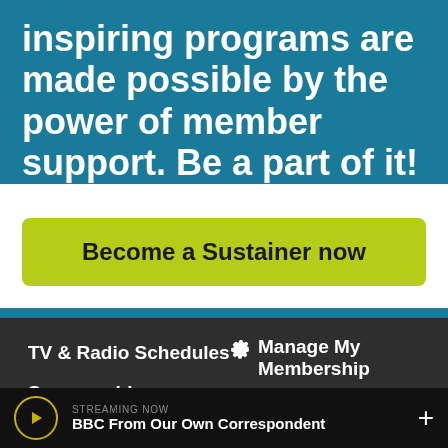inspiring programs are made possible by the power of member support. Be a part of it!
Become a Sustainer now
TV & Radio Schedules
Sponsorship
Help
Manage My Membership
Contact Us
Notifications
STREAMING NOW
BBC From Our Own Correspondent